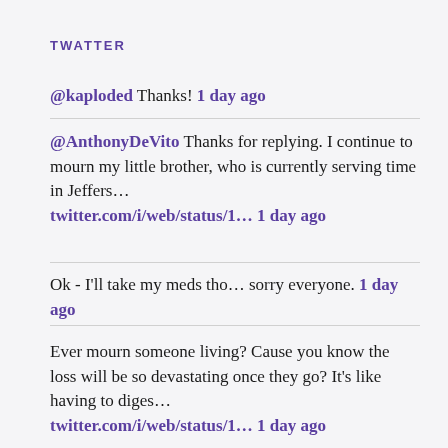TWATTER
@kaploded Thanks! 1 day ago
@AnthonyDeVito Thanks for replying. I continue to mourn my little brother, who is currently serving time in Jeffers... twitter.com/i/web/status/1... 1 day ago
Ok - I'll take my meds tho... sorry everyone. 1 day ago
Ever mourn someone living? Cause you know the loss will be so devastating once they go? It's like having to diges... twitter.com/i/web/status/1... 1 day ago